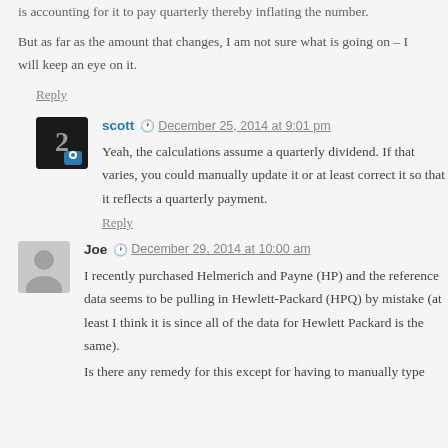is accounting for it to pay quarterly thereby inflating the number.
But as far as the amount that changes, I am not sure what is going on – I will keep an eye on it.
Reply
scott  December 25, 2014 at 9:01 pm
Yeah, the calculations assume a quarterly dividend. If that varies, you could manually update it or at least correct it so that it reflects a quarterly payment.
Reply
Joe  December 29, 2014 at 10:00 am
I recently purchased Helmerich and Payne (HP) and the reference data seems to be pulling in Hewlett-Packard (HPQ) by mistake (at least I think it is since all of the data for Hewlett Packard is the same).
Is there any remedy for this except for having to manually type